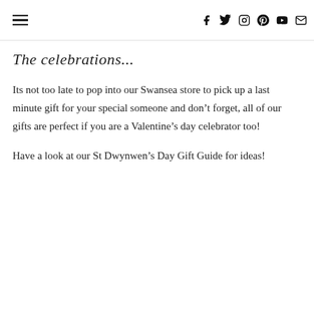[hamburger menu] [social icons: facebook, twitter, instagram, pinterest, youtube, email]
The celebrations...
Its not too late to pop into our Swansea store to pick up a last minute gift for your special someone and don’t forget, all of our gifts are perfect if you are a Valentine’s day celebrator too!
Have a look at our St Dwynwen’s Day Gift Guide for ideas!